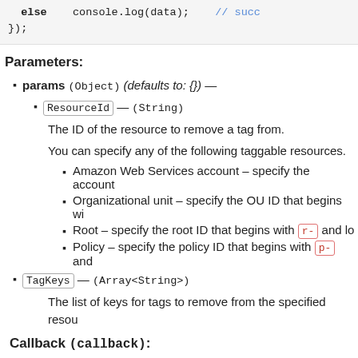else    console.log(data);    // succ
});
Parameters:
params (Object) (defaults to: {}) —
ResourceId — (String)
The ID of the resource to remove a tag from.
You can specify any of the following taggable resources.
Amazon Web Services account – specify the account
Organizational unit – specify the OU ID that begins wi
Root – specify the root ID that begins with r- and lo
Policy – specify the policy ID that begins with p- and
TagKeys — (Array<String>)
The list of keys for tags to remove from the specified resou
Callback (callback):